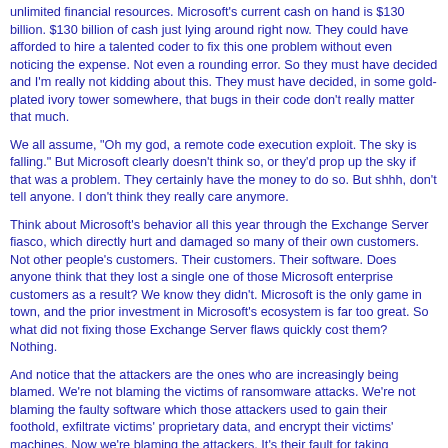unlimited financial resources. Microsoft's current cash on hand is $130 billion. $130 billion of cash just lying around right now. They could have afforded to hire a talented coder to fix this one problem without even noticing the expense. Not even a rounding error. So they must have decided and I'm really not kidding about this. They must have decided, in some gold-plated ivory tower somewhere, that bugs in their code don't really matter that much.
We all assume, "Oh my god, a remote code execution exploit. The sky is falling." But Microsoft clearly doesn't think so, or they'd prop up the sky if that was a problem. They certainly have the money to do so. But shhh, don't tell anyone. I don't think they really care anymore.
Think about Microsoft's behavior all this year through the Exchange Server fiasco, which directly hurt and damaged so many of their own customers. Not other people's customers. Their customers. Their software. Does anyone think that they lost a single one of those Microsoft enterprise customers as a result? We know they didn't. Microsoft is the only game in town, and the prior investment in Microsoft's ecosystem is far too great. So what did not fixing those Exchange Server flaws quickly cost them? Nothing.
And notice that the attackers are the ones who are increasingly being blamed. We're not blaming the victims of ransomware attacks. We're not blaming the faulty software which those attackers used to gain their foothold, exfiltrate victims' proprietary data, and encrypt their victims' machines. Now we're blaming the attackers. It's their fault for taking advantage of our flaws and weaknesses. It's their home government's fault for allowing them to do that. The U.S. Government is loudly screaming, "You'd better stop attacking us, or else," while